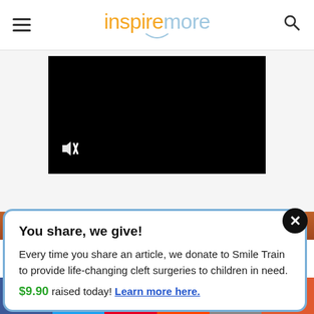inspiremore
[Figure (screenshot): Black video player with muted speaker icon in bottom-left corner]
You share, we give! Every time you share an article, we donate to Smile Train to provide life-changing cleft surgeries to children in need. $9.90 raised today! Learn more here.
[Figure (other): Social share bar with Facebook, Twitter, Pinterest, Reddit, email, and more buttons]